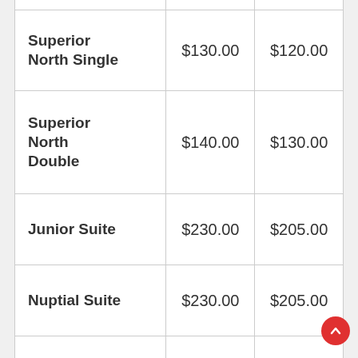| Superior North Single | $130.00 | $120.00 |
| Superior North Double | $140.00 | $130.00 |
| Junior Suite | $230.00 | $205.00 |
| Nuptial Suite | $230.00 | $205.00 |
| Executive Suite | $335.00 | $300.00 |
| Master Suite | $450.00 | $450.00 |
| Presidential... |  |  |